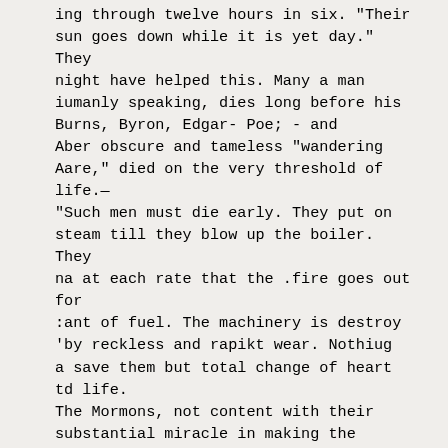ing through twelve hours in six. "Their sun goes down while it is yet day." They night have helped this. Many a man iumanly speaking, dies long before his Burns, Byron, Edgar- Poe; - and Aber obscure and tameless "wandering Aare," died on the very threshold of life.— "Such men must die early. They put on steam till they blow up the boiler. They na at each rate that the .fire goes out for :ant of fuel. The machinery is destroy 'by reckless and rapikt wear. Nothiug a save them but total change of heart td life.
The Mormons, not content with their substantial miracle in making the desert blossom like the rose, have performed an another published in the Deseret News,the church organ. The scene of the new miracle is laid in the Sandwich Islands, and distance has probahlygiven it all its enchantment. But according to the News, a man who for syears has a palsied cripple has been fully restored to health by the simple command of a Mormon